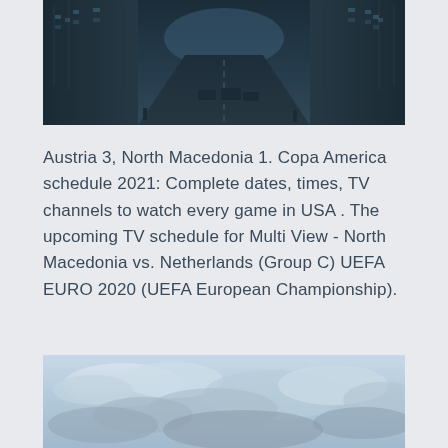[Figure (photo): Urban street canyon photo showing tall skyscrapers lining a wet city street with a dark teal/blue tone, taken from a low angle looking down the street]
Austria 3, North Macedonia 1. Copa America schedule 2021: Complete dates, times, TV channels to watch every game in USA . The upcoming TV schedule for Multi View - North Macedonia vs. Netherlands (Group C) UEFA EURO 2020 (UEFA European Championship).
[Figure (photo): Sky photo showing a cloudy sky with light blue and grey tones, partially cropped at the bottom of the page]